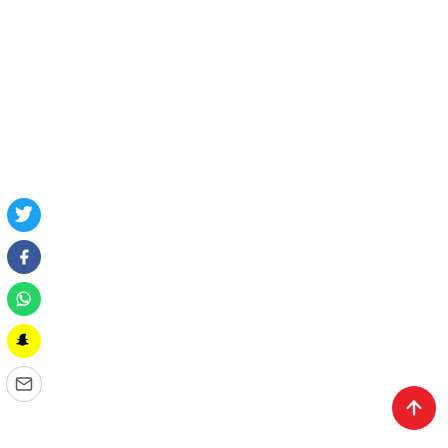[Figure (infographic): Social media sharing sidebar with Twitter, Facebook, WhatsApp, Snapchat, and Email circular icon buttons arranged vertically on the left side of the page. A red circular scroll-to-top button with an upward arrow is located in the bottom-right corner.]